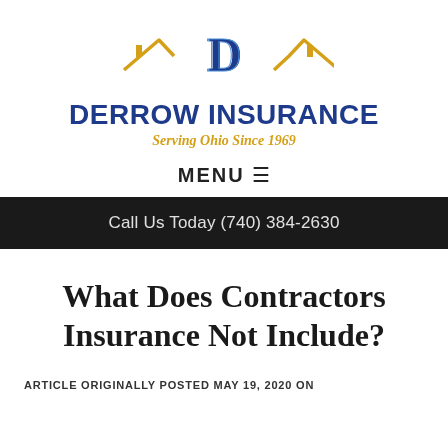[Figure (logo): Derrow Insurance logo with house rooftop graphic in gold/yellow, letter D in blue, company name DERROW INSURANCE in bold blue, tagline Serving Ohio Since 1969 in gold italic]
MENU ☰
Call Us Today (740) 384-2630
What Does Contractors Insurance Not Include?
ARTICLE ORIGINALLY POSTED MAY 19, 2020 ON